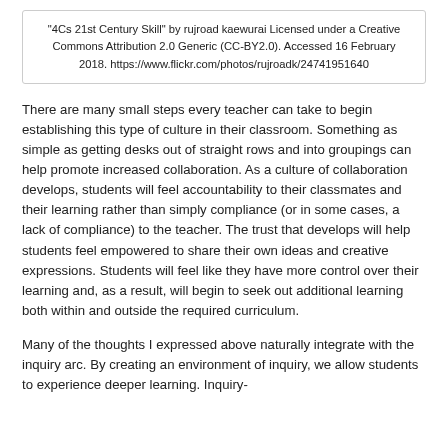"4Cs 21st Century Skill" by rujroad kaewurai Licensed under a Creative Commons Attribution 2.0 Generic (CC-BY2.0). Accessed 16 February 2018. https://www.flickr.com/photos/rujroadk/24741951640
There are many small steps every teacher can take to begin establishing this type of culture in their classroom. Something as simple as getting desks out of straight rows and into groupings can help promote increased collaboration. As a culture of collaboration develops, students will feel accountability to their classmates and their learning rather than simply compliance (or in some cases, a lack of compliance) to the teacher. The trust that develops will help students feel empowered to share their own ideas and creative expressions. Students will feel like they have more control over their learning and, as a result, will begin to seek out additional learning both within and outside the required curriculum.
Many of the thoughts I expressed above naturally integrate with the inquiry arc. By creating an environment of inquiry, we allow students to experience deeper learning. Inquiry-